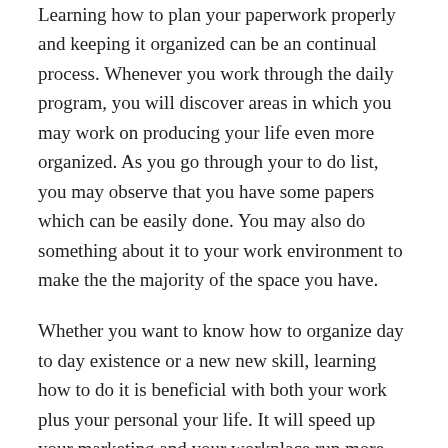Learning how to plan your paperwork properly and keeping it organized can be an continual process. Whenever you work through the daily program, you will discover areas in which you may work on producing your life even more organized. As you go through your to do list, you may observe that you have some papers which can be easily done. You may also do something about it to your work environment to make the the majority of the space you have.
Whether you want to know how to organize day to day existence or a new new skill, learning how to do it is beneficial with both your work plus your personal your life. It will speed up your marketing and your workplace run more smoothly. Additionally , once you learn the proper way to organize your paperwork, you may find that you even have more time left over to spend with your household.